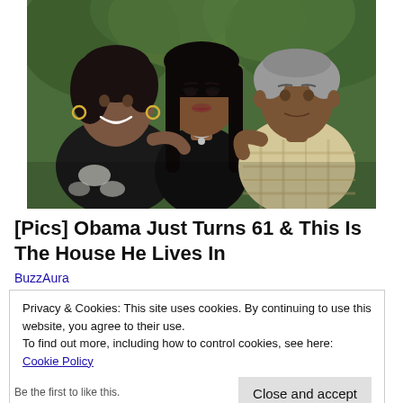[Figure (photo): Family portrait of three people: a woman on the left smiling with hoop earrings and dark top, a young woman in the center with dark hair wearing a black top and necklace, and a man on the right wearing a plaid shirt, outdoors with green foliage background]
[Pics] Obama Just Turns 61 & This Is The House He Lives In
BuzzAura
Privacy & Cookies: This site uses cookies. By continuing to use this website, you agree to their use.
To find out more, including how to control cookies, see here: Cookie Policy
Close and accept
Be the first to like this.